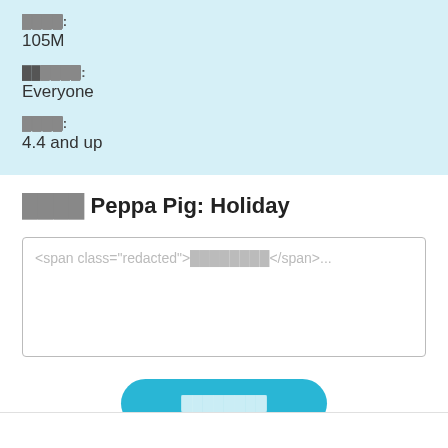████: 105M
██████: Everyone
████: 4.4 and up
████ Peppa Pig: Holiday
████████...
████████